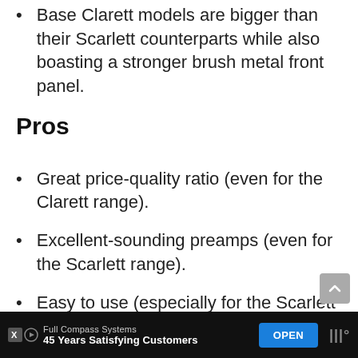Base Clarett models are bigger than their Scarlett counterparts while also boasting a stronger brush metal front panel.
Pros
Great price-quality ratio (even for the Clarett range).
Excellent-sounding preamps (even for the Scarlett range).
Easy to use (especially for the Scarlett range).
The Scarlett range bundles are perfect for
[Figure (infographic): Advertisement bar at the bottom: Full Compass Systems - 45 Years Satisfying Customers with OPEN button]